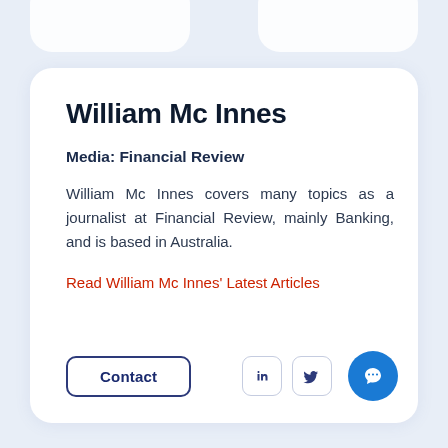William Mc Innes
Media: Financial Review
William Mc Innes covers many topics as a journalist at Financial Review, mainly Banking, and is based in Australia.
Read William Mc Innes' Latest Articles